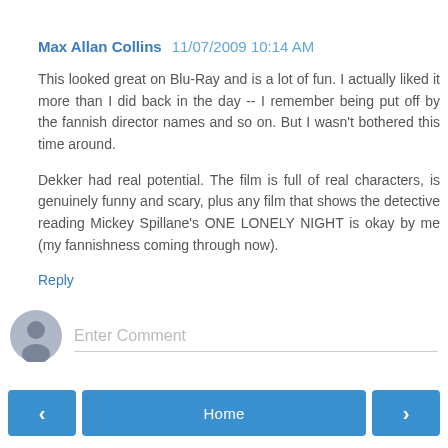Max Allan Collins  11/07/2009 10:14 AM
This looked great on Blu-Ray and is a lot of fun. I actually liked it more than I did back in the day -- I remember being put off by the fannish director names and so on. But I wasn't bothered this time around.
Dekker had real potential. The film is full of real characters, is genuinely funny and scary, plus any film that shows the detective reading Mickey Spillane's ONE LONELY NIGHT is okay by me (my fannishness coming through now).
Reply
[Figure (other): User avatar placeholder icon with grey circle and silhouette]
Enter Comment
< Home >